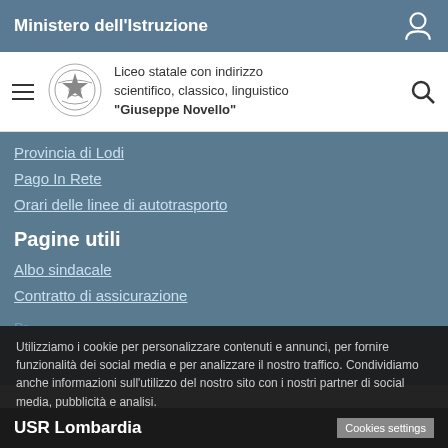Ministero dell'Istruzione
Liceo statale con indirizzo scientifico, classico, linguistico "Giuseppe Novello"
Provincia di Lodi
Pago In Rete
Orari delle linee di autotrasporto
Pagine utili
Albo sindacale
Contratto di assicurazione
Elenco dei fornitori
Graduatorie
Organigramma
Valorizzazione del merito dei docenti
Utilizziamo i cookie per personalizzare contenuti e annunci, per fornire funzionalità dei social media e per analizzare il nostro traffico. Condividiamo anche informazioni sull'utilizzo del nostro sito con i nostri partner di social media, pubblicità e analisi.
Cookies settings
Accept
USR Lombardia
Cookies settings